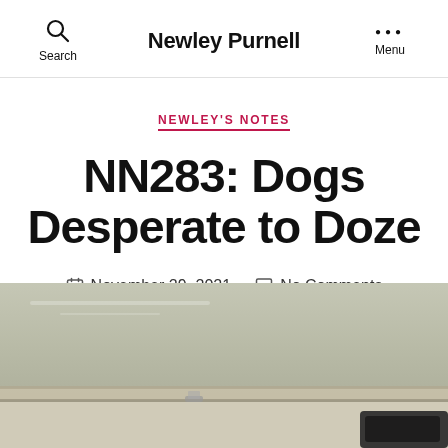Search | Newley Purnell | Menu
NEWLEY'S NOTES
NN283: Dogs Desperate to Doze
November 29, 2021  No Comments
[Figure (photo): Partial photo of a desk surface, showing what appears to be a light green/grey tabletop with a book or binder spine visible, and a dark object in the lower right corner.]